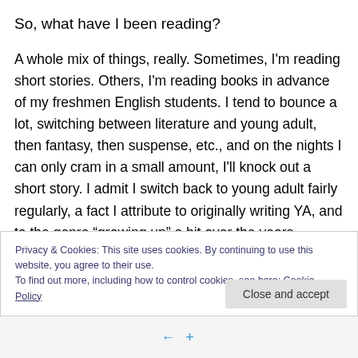So, what have I been reading?
A whole mix of things, really. Sometimes, I'm reading short stories. Others, I'm reading books in advance of my freshmen English students. I tend to bounce a lot, switching between literature and young adult, then fantasy, then suspense, etc., and on the nights I can only cram in a small amount, I'll knock out a short story. I admit I switch back to young adult fairly regularly, a fact I attribute to originally writing YA, and to the genre “growing up” a bit over the years. Currently, Christopher Pike’s Thirst 2 has
Privacy & Cookies: This site uses cookies. By continuing to use this website, you agree to their use.
To find out more, including how to control cookies, see here: Cookie Policy
Close and accept